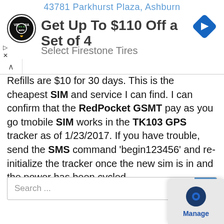[Figure (screenshot): Advertisement banner showing tire and auto logo, navigation arrow icon, address text '43781 Parkhurst Plaza, Ashburn', ad title 'Get Up To $110 Off a Set of 4 Select Firestone Tires']
Refills are $10 for 30 days. This is the cheapest SIM and service I can find. I can confirm that the RedPocket GSMT pay as you go tmobile SIM works in the TK103 GPS tracker as of 1/23/2017. If you have trouble, send the SMS command 'begin123456' and re-initialize the tracker once the new sim is in and the power has been cycled.
[Figure (screenshot): Search input box with placeholder text 'Search ...' and a blue search button, and a Manage widget in bottom-right corner with gear icon]